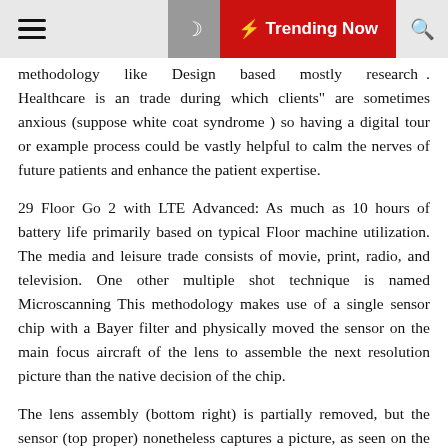☰  🌙  ⚡ Trending Now  🔍
methodology like Design based mostly research . Healthcare is an trade during which clients" are sometimes anxious (suppose white coat syndrome ) so having a digital tour or example process could be vastly helpful to calm the nerves of future patients and enhance the patient expertise.
29 Floor Go 2 with LTE Advanced: As much as 10 hours of battery life primarily based on typical Floor machine utilization. The media and leisure trade consists of movie, print, radio, and television. One other multiple shot technique is named Microscanning This methodology makes use of a single sensor chip with a Bayer filter and physically moved the sensor on the main focus aircraft of the lens to assemble the next resolution picture than the native decision of the chip.
The lens assembly (bottom right) is partially removed, but the sensor (top proper) nonetheless captures a picture, as seen on the LCD display (bottom left).